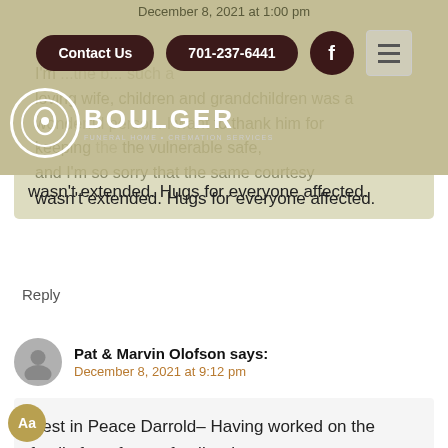Boulger Funeral Home + Cremation Services | Contact Us | 701-237-6441
I'm... such a loving wife, children and grandchildren was a wonderful person. I want to thank him for keeping the vulnerable safe, and I'm so sorry that the same courtesy wasn't extended. Hugs for everyone affected.
Reply
Pat & Marvin Olofson says: December 8, 2021 at 9:12 pm
Rest in Peace Darrold– Having worked on the family farm for my family when you were young to you walking up to my yard when I lived at 1350 10th Ave. S. in Fargo because I looked like my Aunt Donna you remembered